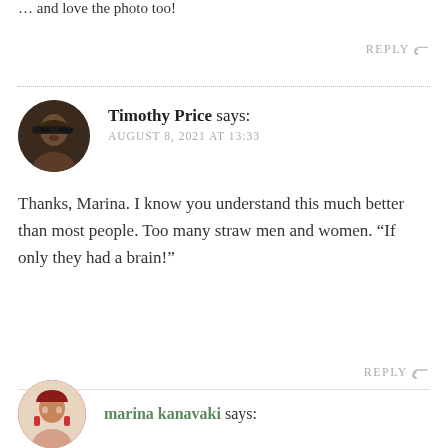… and love the photo too!
REPLY ↩
Timothy Price says: AUGUST 8, 2021 AT 13:33
Thanks, Marina. I know you understand this much better than most people. Too many straw men and women. “If only they had a brain!”
REPLY ↩
marina kanavaki says: